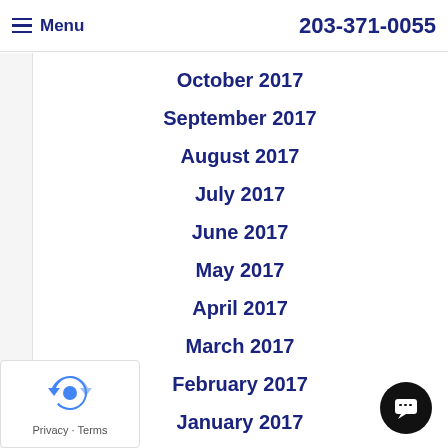Menu  203-371-0055
October 2017
September 2017
August 2017
July 2017
June 2017
May 2017
April 2017
March 2017
February 2017
January 2017
June 2016
May 2016